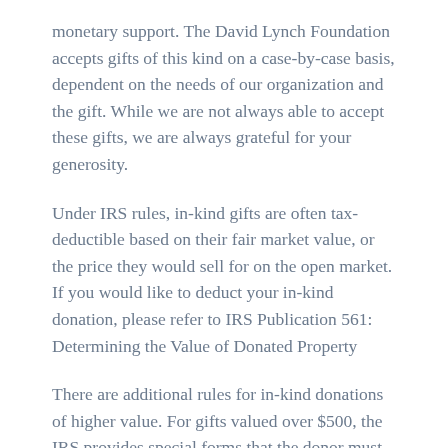monetary support. The David Lynch Foundation accepts gifts of this kind on a case-by-case basis, dependent on the needs of our organization and the gift. While we are not always able to accept these gifts, we are always grateful for your generosity.
Under IRS rules, in-kind gifts are often tax-deductible based on their fair market value, or the price they would sell for on the open market. If you would like to deduct your in-kind donation, please refer to IRS Publication 561: Determining the Value of Donated Property
There are additional rules for in-kind donations of higher value. For gifts valued over $500, the IRS provides special forms that the donor must